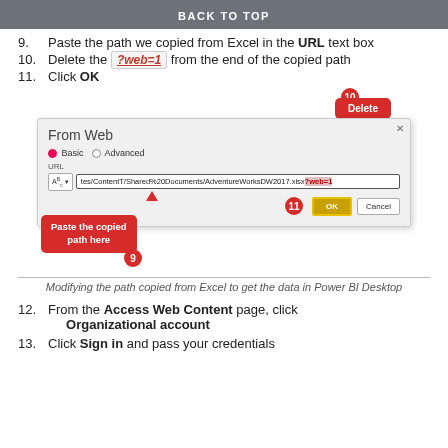BACK TO TOP
9. Paste the path we copied from Excel in the URL text box
10. Delete the ?web=1 from the end of the copied path
11. Click OK
[Figure (screenshot): From Web dialog screenshot showing URL field with ?web=1 highlighted, Delete callout (10), Paste the copied path here callout (9), and OK button callout (11)]
Modifying the path copied from Excel to get the data in Power BI Desktop
12. From the Access Web Content page, click Organizational account
13. Click Sign in and pass your credentials